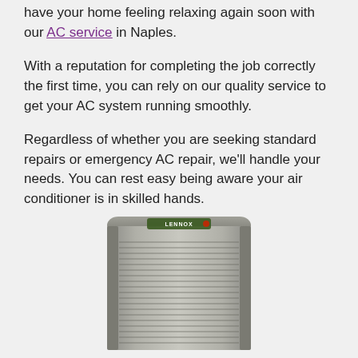have your home feeling relaxing again soon with our AC service in Naples.
With a reputation for completing the job correctly the first time, you can rely on our quality service to get your AC system running smoothly.
Regardless of whether you are seeking standard repairs or emergency AC repair, we'll handle your needs. You can rest easy being aware your air conditioner is in skilled hands.
[Figure (photo): A Lennox outdoor air conditioning unit, gray metallic finish with vertical louvers, shown from the front on a white background.]